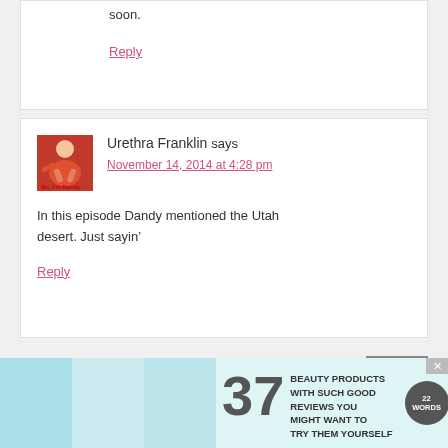soon.
Reply
Urethra Franklin says
November 14, 2014 at 4:28 pm
In this episode Dandy mentioned the Utah desert. Just sayin’
Reply
[Figure (other): Advertisement banner: 37 BEAUTY PRODUCTS WITH SUCH GOOD REVIEWS YOU MIGHT WANT TO TRY THEM YOURSELF, with product images and 22 Words logo]
CLOSE